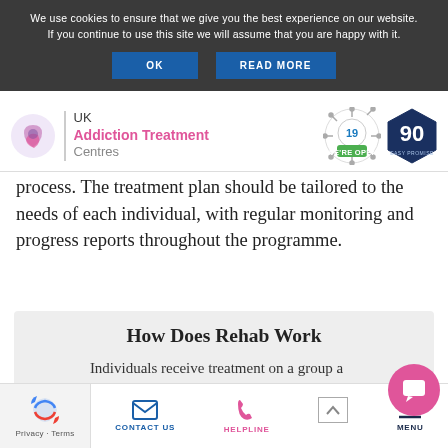We use cookies to ensure that we give you the best experience on our website. If you continue to use this site we will assume that you are happy with it.
OK | READ MORE
[Figure (logo): UK Addiction Treatment Centres logo with pink/purple circle icon, text and covid-19 WE'RE OPEN badge, and 90 EASY PROMISE hexagon badge]
process. The treatment plan should be tailored to the needs of each individual, with regular monitoring and progress reports throughout the programme.
How Does Rehab Work
Individuals receive treatment on a group and one-to-one basis, and have a customised
Privacy · Terms   CONTACT US   HELPLINE   MENU